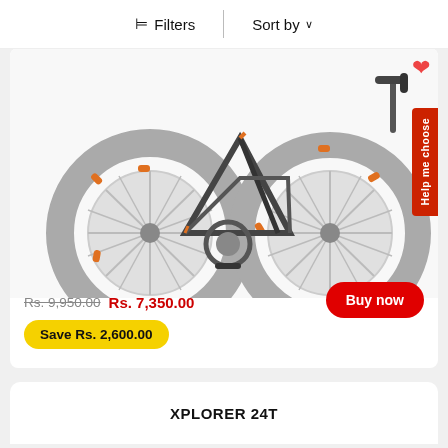[Figure (screenshot): E-commerce product listing page showing a bicycle (bottom wheel/frame area visible), filter and sort bar, price information, and product title XPLORER 24T]
⊓ Filters
Sort by ∨
Rs. 9,950.00 Rs. 7,350.00
Save Rs. 2,600.00
Buy now
Help me choose
XPLORER 24T